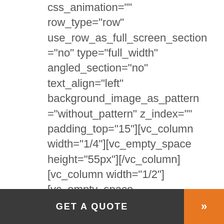css_animation="" row_type="row" use_row_as_full_screen_section ="no" type="full_width" angled_section="no" text_align="left" background_image_as_pattern ="without_pattern" z_index="" padding_top="15"][vc_column width="1/4"][vc_empty_space height="55px"][/vc_column] [vc_column width="1/2"] [vc_empty_space height="20px"] [vc_column_te
GET A QUOTE »